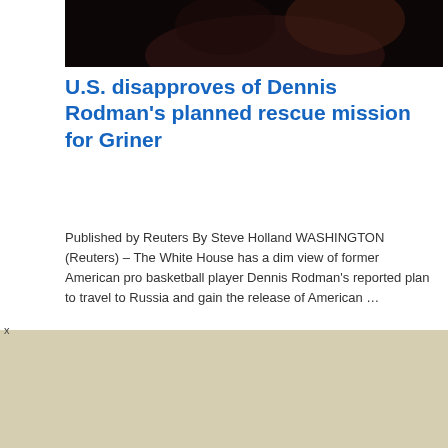[Figure (photo): Dark photo showing hands raised in low light, possibly at a concert or event]
U.S. disapproves of Dennis Rodman's planned rescue mission for Griner
Published by Reuters By Steve Holland WASHINGTON (Reuters) – The White House has a dim view of former American pro basketball player Dennis Rodman's reported plan to travel to Russia and gain the release of American …
Read More »
[Figure (photo): Close-up photo of an elderly man with round glasses and gray hair looking upward — appears to be a political figure]